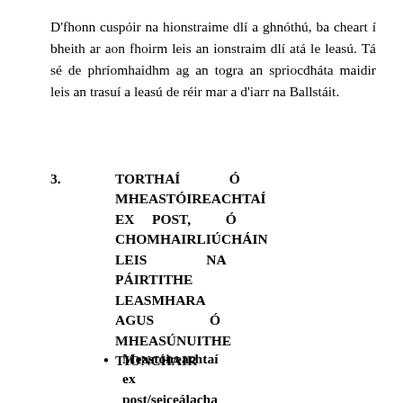D'fhonn cuspóir na hionstraime dlí a ghnóthú, ba cheart í bheith ar aon fhoirm leis an ionstraim dlí atá le leasú. Tá sé de phríomhaidhm ag an togra an spriocdháta maidir leis an trasuí a leasú de réir mar a d'iarr na Ballstáit.
3. TORTHAÍ Ó MHEASTÓIREACHTAÍ EX POST, Ó CHOMHAIRLIÚCHÁIN LEIS NA PÁIRTITHE LEASMHARA AGUS Ó MHEASÚNUITHE TIONCHAIR
Meastóireachtaí ex post/seiceálacha